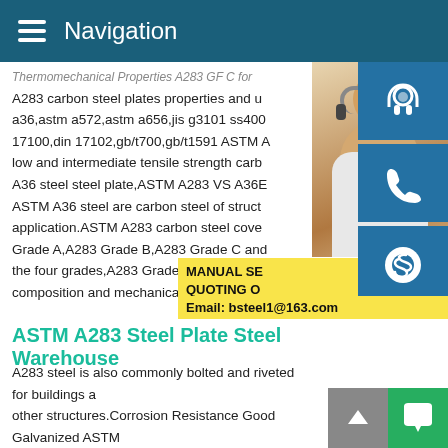Navigation
Thermomechanical Properties A283 GF C for A283 carbon steel plates properties and u a36,astm a572,astm a656,jis g3101 ss400 17100,din 17102,gb/t700,gb/t1591 ASTM A low and intermediate tensile strength carb A36 steel steel plate,ASTM A283 VS A36 ASTM A36 steel are carbon steel of struct application.ASTM A283 carbon steel cov Grade A,A283 Grade B,A283 Grade C and the four grades,A283 Grade C has very si composition and mechanical peroperties w
[Figure (photo): Woman with headset, customer service representative photo on right side]
[Figure (infographic): Blue contact icons: headset/support, phone, Skype]
MANUAL SE QUOTING O
Email: bsteel1@163.com
ASTM A283 Steel Plate Steel Warehouse
A283 steel is also commonly bolted and riveted for buildings a other structures.Corrosion Resistance Good Galvanized ASTM will rust more slowly.For longer life in harsh chemical conditions, with a Galvanized or Coated Steel.Choose an A